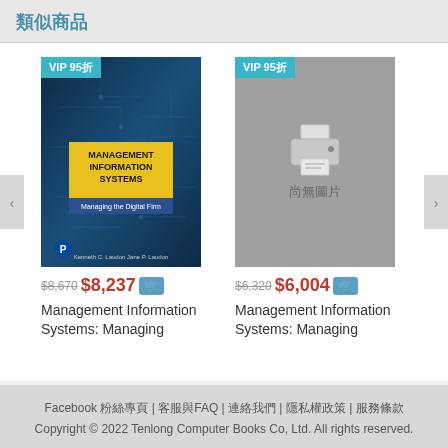類似商品
[Figure (photo): Book cover for Management Information Systems with circuit board background and VIP 95折 badge. Price: $8,670 original, $8,237 sale.]
$8,670 $8,237
Management Information Systems: Managing
[Figure (photo): Placeholder image (尚無圖片) with printer icon and VIP 95折 badge. Price: $6,320 original, $6,004 sale.]
$6,320 $6,004
Management Information Systems: Managing
Facebook 粉絲專頁 | 客服與FAQ | 連絡我們 | 隱私權政策 | 服務條款
Copyright © 2022 Tenlong Computer Books Co, Ltd. All rights reserved.